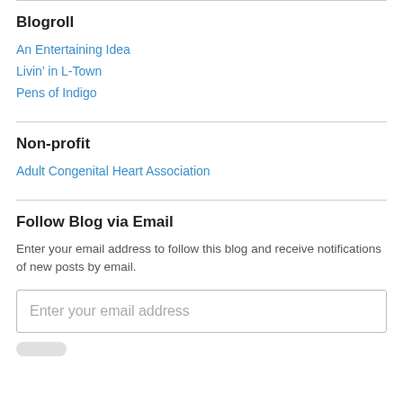Blogroll
An Entertaining Idea
Livin’ in L-Town
Pens of Indigo
Non-profit
Adult Congenital Heart Association
Follow Blog via Email
Enter your email address to follow this blog and receive notifications of new posts by email.
Enter your email address